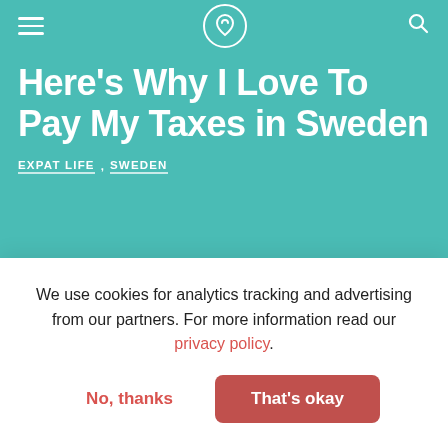Navigation bar with hamburger menu, logo, and search icon
Here’s Why I Love To Pay My Taxes in Sweden
EXPAT LIFE, SWEDEN
[Figure (photo): Colorful Swedish-style building facades against a light sky, cropped to show tops of buildings in red, orange, and yellow tones]
We use cookies for analytics tracking and advertising from our partners. For more information read our privacy policy.
No, thanks
That's okay